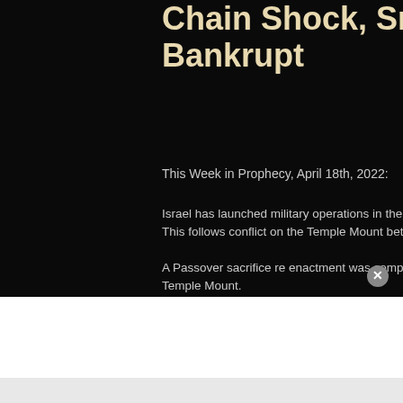Chain Shock, Sri Lan Bankrupt
This Week in Prophecy, April 18th, 2022:
Israel has launched military operations in the Gaza Str missiles. This follows conflict on the Temple Mount bet Israeli security.
A Passover sacrifice re enactment was completed near the Temple Mount.
The European Union is looking to rid itself of dependen looks to fill the void and sell natural gas to Europe.
Later, Russia calls out Israel for UN Security Council ar